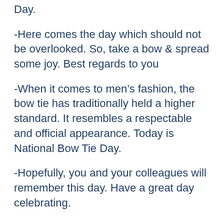Day.
-Here comes the day which should not be overlooked. So, take a bow & spread some joy. Best regards to you
-When it comes to men’s fashion, the bow tie has traditionally held a higher standard. It resembles a respectable and official appearance. Today is National Bow Tie Day.
-Hopefully, you and your colleagues will remember this day. Have a great day celebrating.